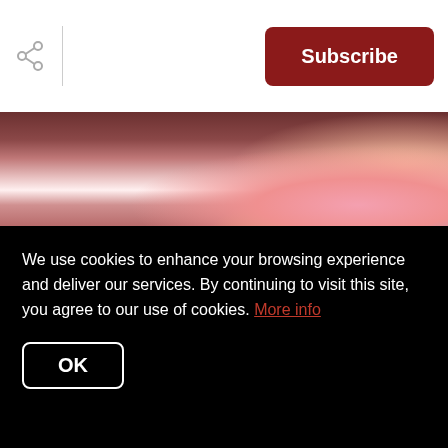Subscribe
[Figure (photo): Photo of a person's feet/ankles wearing yoga socks and ankle bracelet, with colorful paper flowers visible on the right side and greenery in the background.]
Goat Yoga – Gilbert
Friday from 7:00 pm to 8:00 pm
The best time to do yoga in AZ is in the evening! Join us in
We use cookies to enhance your browsing experience and deliver our services. By continuing to visit this site, you agree to our use of cookies. More info
OK